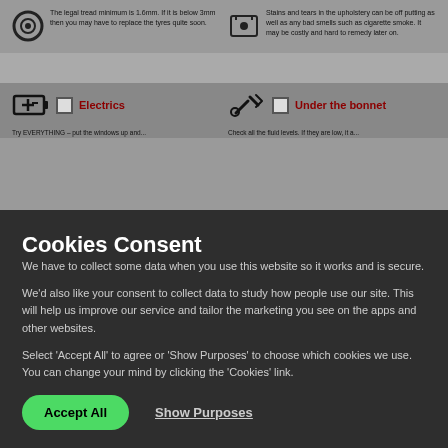[Figure (screenshot): Partially visible webpage showing car checklist items: tyre icon with text about legal tread minimum 1.6mm, seat icon with text about stains and tears in upholstery. Below: battery icon labeled Electrics with checkbox, tools icon labeled Under the bonnet with checkbox and partial text.]
Cookies Consent
We have to collect some data when you use this website so it works and is secure.
We'd also like your consent to collect data to study how people use our site. This will help us improve our service and tailor the marketing you see on the apps and other websites.
Select 'Accept All' to agree or 'Show Purposes' to choose which cookies we use. You can change your mind by clicking the 'Cookies' link.
Accept All
Show Purposes